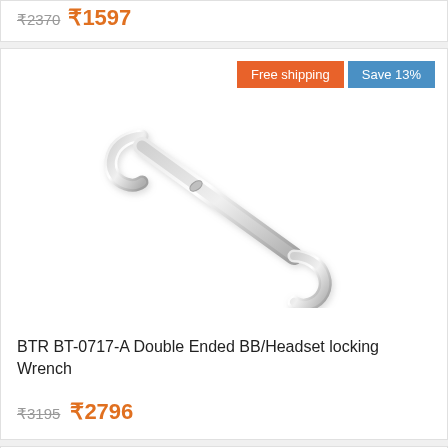₹2370 ₹1597
Free shipping | Save 13%
[Figure (photo): BTR BT-0717-A Double Ended BB/Headset locking Wrench - silver chrome S-shaped wrench tool]
BTR BT-0717-A Double Ended BB/Headset locking Wrench
₹3195 ₹2796
Free shipping | Save 25%